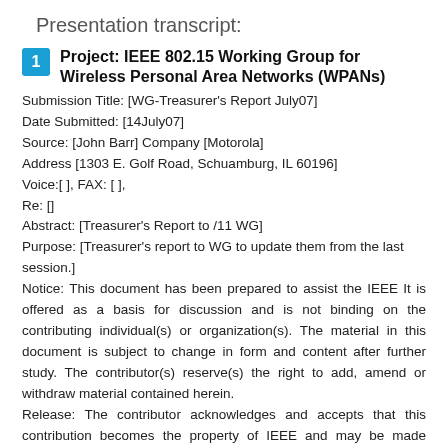Presentation transcript:
1  Project: IEEE 802.15 Working Group for Wireless Personal Area Networks (WPANs)
Submission Title: [WG-Treasurer's Report July07]
Date Submitted: [14July07]
Source: [John Barr] Company [Motorola]
Address [1303 E. Golf Road, Schuamburg, IL 60196]
Voice:[ ], FAX: [ ],
Re: []
Abstract: [Treasurer's Report to /11 WG]
Purpose: [Treasurer's report to WG to update them from the last session.]
Notice: This document has been prepared to assist the IEEE It is offered as a basis for discussion and is not binding on the contributing individual(s) or organization(s). The material in this document is subject to change in form and content after further study. The contributor(s) reserve(s) the right to add, amend or withdraw material contained herein.
Release: The contributor acknowledges and accepts that this contribution becomes the property of IEEE and may be made publicly available by